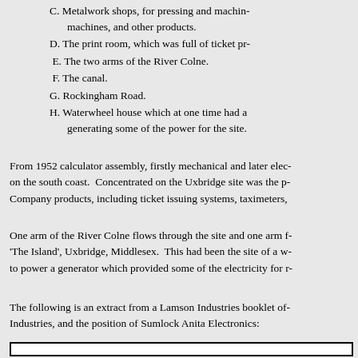C. Metalwork shops, for pressing and machining machines, and other products.
D. The print room, which was full of ticket pr...
E. The two arms of the River Colne.
F. The canal.
G. Rockingham Road.
H. Waterwheel house which at one time had a... generating some of the power for the site.
From 1952 calculator assembly, firstly mechanical and later elec... on the south coast.  Concentrated on the Uxbridge site was the p... Company products, including ticket issuing systems, taximeters,...
One arm of the River Colne flows through the site and one arm f... 'The Island', Uxbridge, Middlesex.  This had been the site of a w... to power a generator which provided some of the electricity for r...
The following is an extract from a Lamson Industries booklet of... Industries, and the position of Sumlock Anita Electronics: